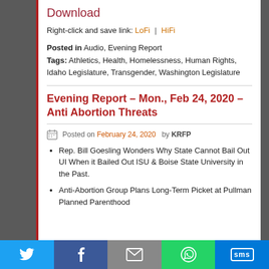Download
Right-click and save link: LoFi | HiFi
Posted in Audio, Evening Report
Tags: Athletics, Health, Homelessness, Human Rights, Idaho Legislature, Transgender, Washington Legislature
Evening Report – Mon., Feb 24, 2020 – Anti Abortion Threats
Posted on February 24, 2020 by KRFP
Rep. Bill Goesling Wonders Why State Cannot Bail Out UI When it Bailed Out ISU & Boise State University in the Past.
Anti-Abortion Group Plans Long-Term Picket at Pullman Planned Parenthood